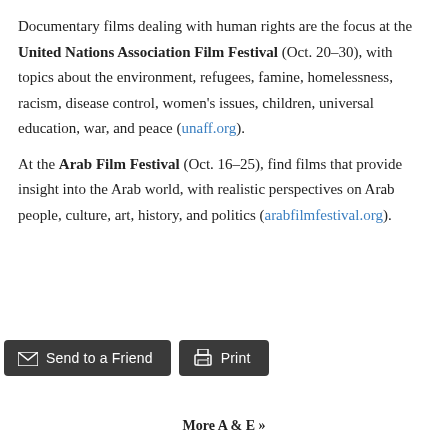Documentary films dealing with human rights are the focus at the United Nations Association Film Festival (Oct. 20–30), with topics about the environment, refugees, famine, homelessness, racism, disease control, women's issues, children, universal education, war, and peace (unaff.org).
At the Arab Film Festival (Oct. 16–25), find films that provide insight into the Arab world, with realistic perspectives on Arab people, culture, art, history, and politics (arabfilmfestival.org).
More A & E »